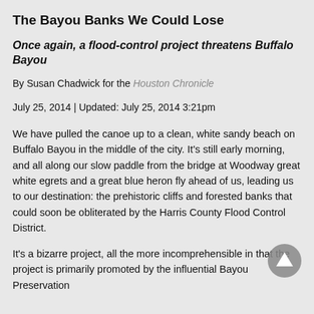The Bayou Banks We Could Lose
Once again, a flood-control project threatens Buffalo Bayou
By Susan Chadwick for the Houston Chronicle
July 25, 2014 | Updated: July 25, 2014 3:21pm
We have pulled the canoe up to a clean, white sandy beach on Buffalo Bayou in the middle of the city. It’s still early morning, and all along our slow paddle from the bridge at Woodway great white egrets and a great blue heron fly ahead of us, leading us to our destination: the prehistoric cliffs and forested banks that could soon be obliterated by the Harris County Flood Control District.
It’s a bizarre project, all the more incomprehensible in that the project is primarily promoted by the influential Bayou Preservation